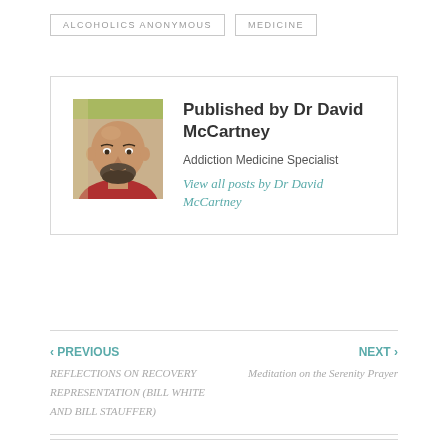ALCOHOLICS ANONYMOUS
MEDICINE
Published by Dr David McCartney
Addiction Medicine Specialist
View all posts by Dr David McCartney
‹ PREVIOUS
REFLECTIONS ON RECOVERY REPRESENTATION (BILL WHITE AND BILL STAUFFER)
NEXT ›
Meditation on the Serenity Prayer